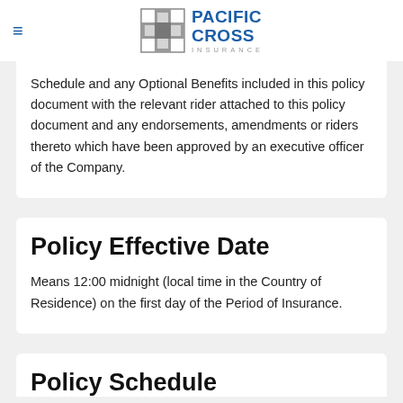Pacific Cross Insurance
Schedule and any Optional Benefits included in this policy document with the relevant rider attached to this policy document and any endorsements, amendments or riders thereto which have been approved by an executive officer of the Company.
Policy Effective Date
Means 12:00 midnight (local time in the Country of Residence) on the first day of the Period of Insurance.
Policy Schedule